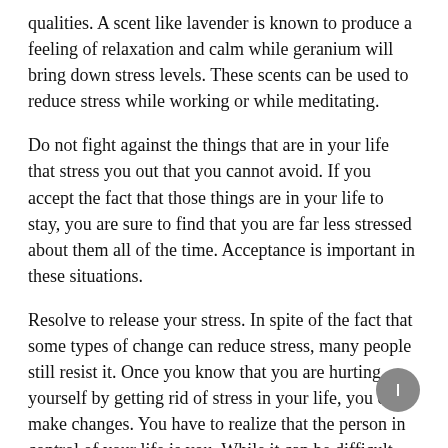qualities. A scent like lavender is known to produce a feeling of relaxation and calm while geranium will bring down stress levels. These scents can be used to reduce stress while working or while meditating.
Do not fight against the things that are in your life that stress you out that you cannot avoid. If you accept the fact that those things are in your life to stay, you are sure to find that you are far less stressed about them all of the time. Acceptance is important in these situations.
Resolve to release your stress. In spite of the fact that some types of change can reduce stress, many people still resist it. Once you know that you are hurting yourself by getting rid of stress in your life, you can make changes. You have to realize that the person in control of your life is you. While it can be difficult, you are completely capable of letting go and changing your life for the better.
Find a solution to the stress. It can be tempting to start